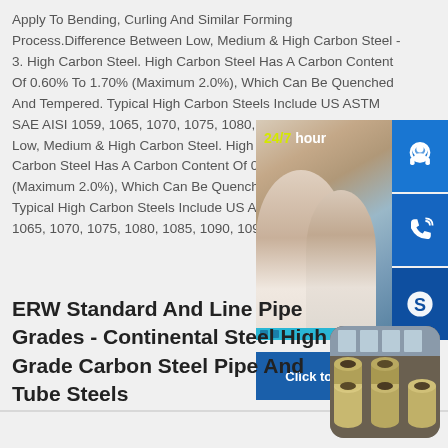Apply To Bending, Curling And Similar Forming Process.Difference Between Low, Medium & High Carbon Steel - 3. High Carbon Steel. High Carbon Steel Has A Carbon Content Of 0.60% To 1.70% (Maximum 2.0%), Which Can Be Quenched And Tempered. Typical High Carbon Steels Include US ASTM SAE AISI 1059, 1065, 1070, 1075, 1080, 1085, 1090, Between Low, Medium & High Carbon Steel. High Carbon Steel. High Carbon Steel Has A Carbon Content Of 0.60% To 1.70% (Maximum 2.0%), Which Can Be Quenched And Tempered. Typical High Carbon Steels Include US ASTM SAE AISI 1059, 1065, 1070, 1075, 1080, 1085, 1090, 1095, Etc.
[Figure (photo): Customer service 24/7 chat widget with a photo of support staff, headset icons, phone icon, Skype icon, and 'Click to chat' button]
ERW Standard And Line Pipe Grades - Continental Steel High Grade Carbon Steel Pipe And Tube Steels
[Figure (photo): Photo of steel pipes/tubes stacked in a warehouse]